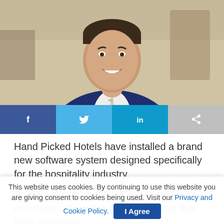[Figure (photo): Professional headshot of a man in a dark navy suit with a floral/patterned tie, smiling, photographed in what appears to be a hotel lobby setting with warm tones in the background.]
[Figure (infographic): Social media share bar with four buttons: Facebook (dark blue with f icon), Twitter (light blue with bird icon), LinkedIn (teal with 'in' icon), and a share/forward button (grey with arrow icon).]
Hand Picked Hotels have installed a brand new software system designed specifically for the hospitality industry.
Procure Wizard is the UK's leading all-in-one hospitality management solution that uses purchase-
This website uses cookies. By continuing to use this website you are giving consent to cookies being used. Visit our Privacy and Cookie Policy.